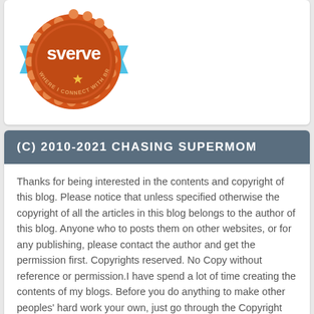[Figure (logo): Sverve badge — orange scalloped circle with blue ribbon banners, text 'sverve WHERE I CONNECT WITH BRANDS' with a star in the center]
(C) 2010-2021 CHASING SUPERMOM
Thanks for being interested in the contents and copyright of this blog. Please notice that unless specified otherwise the copyright of all the articles in this blog belongs to the author of this blog. Anyone who to posts them on other websites, or for any publishing, please contact the author and get the permission first. Copyrights reserved. No Copy without reference or permission.I have spend a lot of time creating the contents of my blogs. Before you do anything to make other peoples' hard work your own, just go through the Copyright and Fair Use Guide to